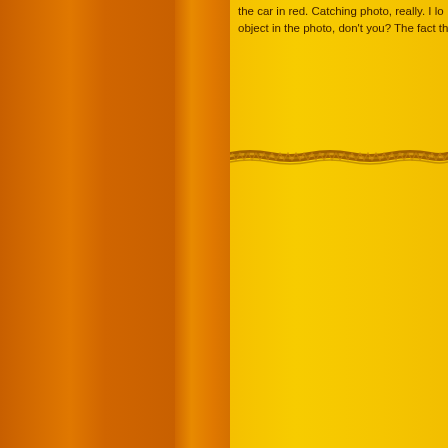[Figure (photo): Close-up photo of what appears to be a book spine/cover with orange and yellow gradient surfaces, and a decorative braided rope or cord element running horizontally across the page at about 1/3 from the top. The left portion shows a darker orange gradient (spine area), while the right portion shows a bright yellow surface.]
the car in red. Catching photo, really. I lo object in the photo, don't you? The fact th